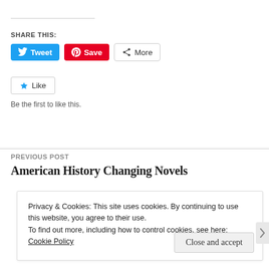SHARE THIS:
[Figure (other): Social share buttons: Tweet (blue), Save (red Pinterest), More (grey outlined)]
[Figure (other): Like button with star icon]
Be the first to like this.
PREVIOUS POST
American History Changing Novels
Privacy & Cookies: This site uses cookies. By continuing to use this website, you agree to their use. To find out more, including how to control cookies, see here: Cookie Policy
Close and accept